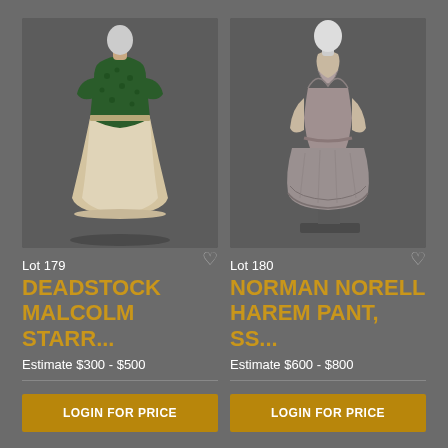[Figure (photo): Mannequin wearing a floor-length gown with green floral lace top and cream/champagne satin skirt, displayed on dark grey background]
[Figure (photo): Mannequin wearing a grey draped harem pant or bubble dress with V-neckline and gathered skirt, displayed on dark grey background]
Lot 179
DEADSTOCK MALCOLM STARR...
Estimate $300 - $500
LOGIN FOR PRICE
Lot 180
NORMAN NORELL HAREM PANT, SS...
Estimate $600 - $800
LOGIN FOR PRICE